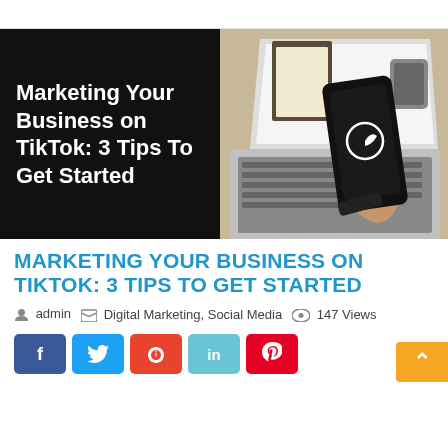[Figure (photo): Split hero image: left half is black background with white bold text reading 'Marketing Your Business on TikTok: 3 Tips To Get Started'; right half shows a person holding a smartphone with TikTok logo in front of an open laptop on a desk]
MARKETING YOUR BUSINESS ON TIKTOK: 3 TIPS TO GET STARTED
admin   Digital Marketing, Social Media   147 Views
Social share buttons: Facebook, Twitter, StumbleUpon, LinkedIn, Pinterest